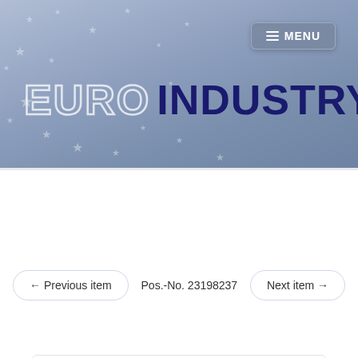[Figure (logo): Euro Industry company logo on blue-grey gradient banner background with decorative stars. 'EURO' in outlined white text, 'INDUSTRY' in dark navy bold text.]
MENU
Products > Industrial safety products & workwear > Industrial safety products > Head protection > Face protection > Tector 40891 Replacement ...
← Previous item   Pos.-No. 23198237   Next item →
Tector 40891 Replacement screen for face protection